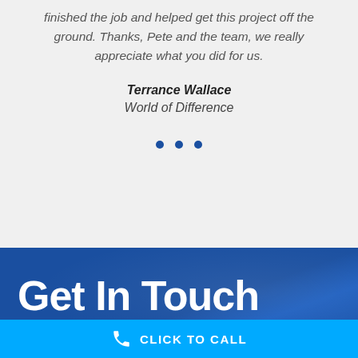finished the job and helped get this project off the ground. Thanks, Pete and the team, we really appreciate what you did for us.
Terrance Wallace
World of Difference
[Figure (other): Three blue dots navigation indicator]
Get In Touch
CLICK TO CALL